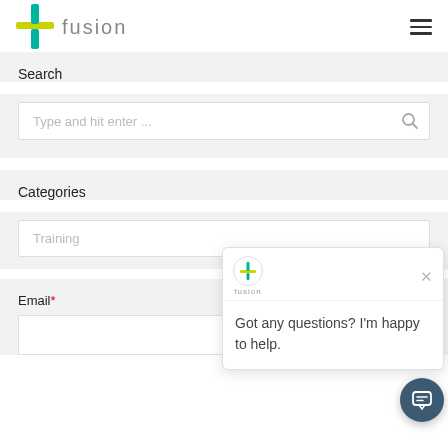fusion (logo with navigation hamburger menu)
Search
Type and hit enter ...
Categories
Training
Email*
[Figure (screenshot): Chat popup widget with fusion logo showing message: Got any questions? I'm happy to help. With a close X button and a dark teal circular chat button in the bottom right.]